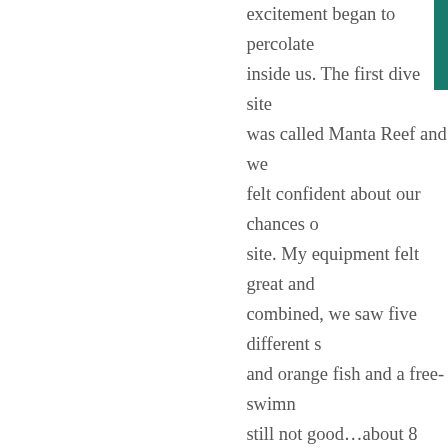excitement began to percolate inside us. The first dive site was called Manta Reef and we felt confident about our chances of this site. My equipment felt great and combined, we saw five different s and orange fish and a free-swimn still not good…about 8 meters ma
During the safety stop on the sec about five manta rays gliding thro those beautiful creatures, I begar depth in the murky water with no learned about the squeeze during from excess pressure at depth. Be through my inner right ear. It was attention. Suddenly frantic, I looke had sunken too low. I ascended s in my ear. Nothing seemed to wor dive masters noticed that I was st